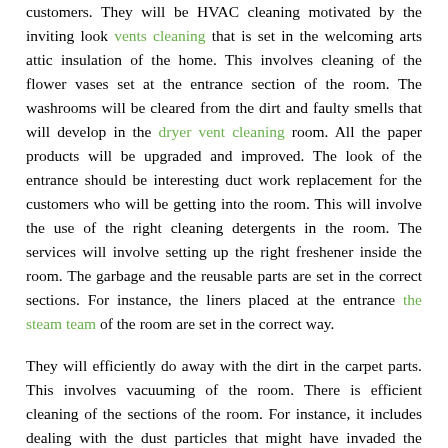customers. They will be HVAC cleaning motivated by the inviting look vents cleaning that is set in the welcoming arts attic insulation of the home. This involves cleaning of the flower vases set at the entrance section of the room. The washrooms will be cleared from the dirt and faulty smells that will develop in the dryer vent cleaning room. All the paper products will be upgraded and improved. The look of the entrance should be interesting duct work replacement for the customers who will be getting into the room. This will involve the use of the right cleaning detergents in the room. The services will involve setting up the right freshener inside the room. The garbage and the reusable parts are set in the correct sections. For instance, the liners placed at the entrance the steam team of the room are set in the correct way.
They will efficiently do away with the dirt in the carpet parts. This involves vacuuming of the room. There is efficient cleaning of the sections of the room. For instance, it includes dealing with the dust particles that might have invaded the room. The kitchen is extensive cleaning of the parts of the kitchen. Doing away with dirt on the sections of the kitchen will be worked on efficiently. They will oversee that all the dirt on the mats and carpets and